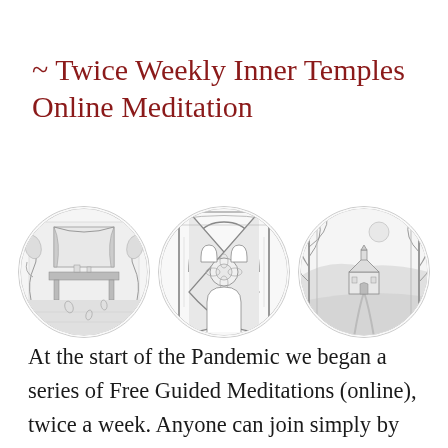~ Twice Weekly Inner Temples Online Meditation
[Figure (illustration): Three circular pencil sketch illustrations side by side: left circle shows an interior room with a fireplace/altar and curtains, center circle shows an ornate gothic arch with infinity/hourglass geometric design, right circle shows a landscape with a small building/chapel viewed through tree branches.]
At the start of the Pandemic we began a series of Free Guided Meditations (online), twice a week. Anyone can join simply by